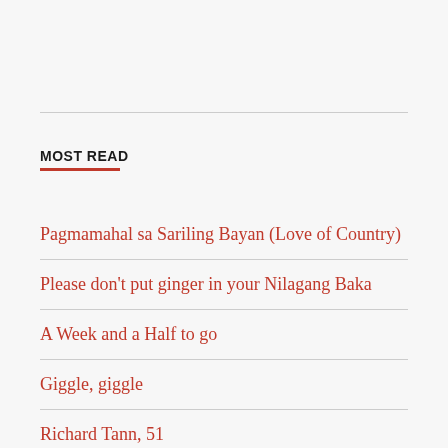MOST READ
Pagmamahal sa Sariling Bayan (Love of Country)
Please don't put ginger in your Nilagang Baka
A Week and a Half to go
Giggle, giggle
Richard Tann, 51
Pecan vs. Pili